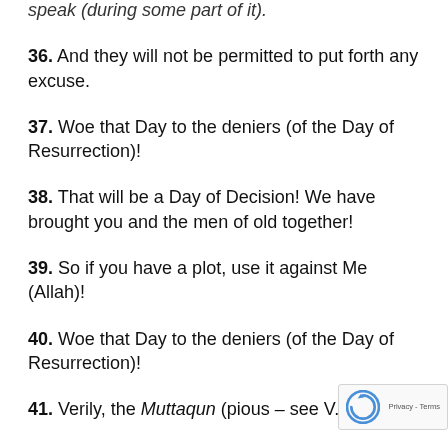speak (during some part of it).
36. And they will not be permitted to put forth any excuse.
37. Woe that Day to the deniers (of the Day of Resurrection)!
38. That will be a Day of Decision! We have brought you and the men of old together!
39. So if you have a plot, use it against Me (Allah)!
40. Woe that Day to the deniers (of the Day of Resurrection)!
41. Verily, the Muttaqun (pious – see V.2.2),